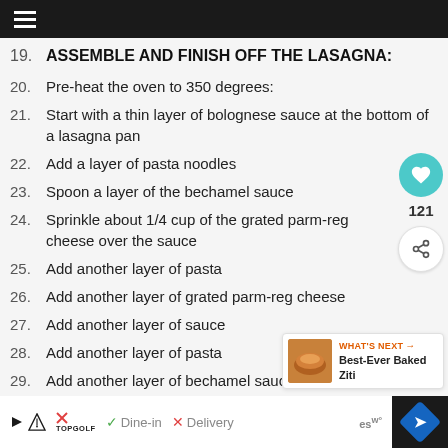Navigation menu
19. ASSEMBLE AND FINISH OFF THE LASAGNA:
20. Pre-heat the oven to 350 degrees:
21. Start with a thin layer of bolognese sauce at the bottom of a lasagna pan
22. Add a layer of pasta noodles
23. Spoon a layer of the bechamel sauce
24. Sprinkle about 1/4 cup of the grated parm-reg cheese over the sauce
25. Add another layer of pasta
26. Add another layer of grated parm-reg cheese
27. Add another layer of sauce
28. Add another layer of pasta
29. Add another layer of bechamel sauce
Topgolf | Dine-in | Delivery | Navigation